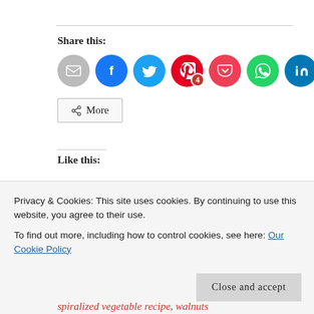Share this:
[Figure (infographic): Row of social sharing icon circles: email (grey), Facebook (blue), Twitter (blue), Pinterest (red, with badge '4'), Pocket (pink-red), WhatsApp (green), LinkedIn (teal)]
More
Like this:
Loading...
Privacy & Cookies: This site uses cookies. By continuing to use this website, you agree to their use.
To find out more, including how to control cookies, see here: Our Cookie Policy
spiralized vegetable recipe, walnuts